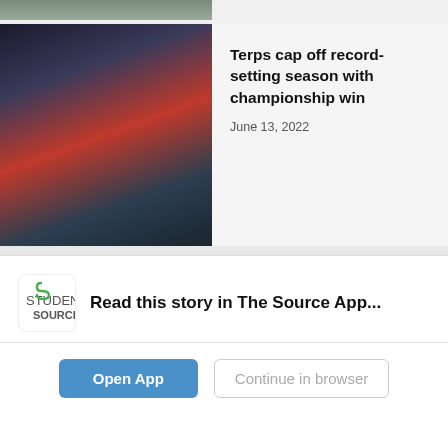[Figure (photo): Cropped top portion of a sports athlete photo]
Terps cap off record-setting season with championship win
June 13, 2022
[Figure (photo): Baseball stadium photo]
Nats off to slow start
June 6, 2022
Tweets from @woottonnews
Wootton's Common Se
Read this story in The Source App...
Open App
Continue in browser